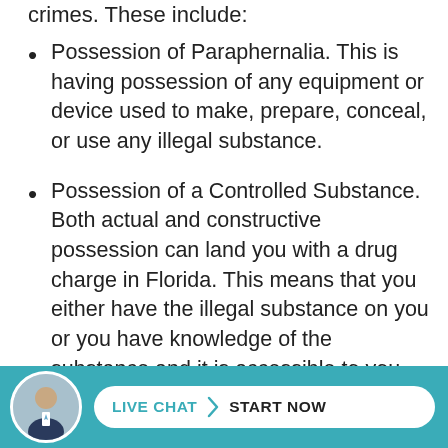crimes. These include:
Possession of Paraphernalia. This is having possession of any equipment or device used to make, prepare, conceal, or use any illegal substance.
Possession of a Controlled Substance. Both actual and constructive possession can land you with a drug charge in Florida. This means that you either have the illegal substance on you or you have knowledge of the substance and it is accessible to you.
M... [partially visible] ...sten
[Figure (photo): Circular avatar photo of a man in a suit, used for live chat widget at the bottom of the page]
LIVE CHAT  START NOW